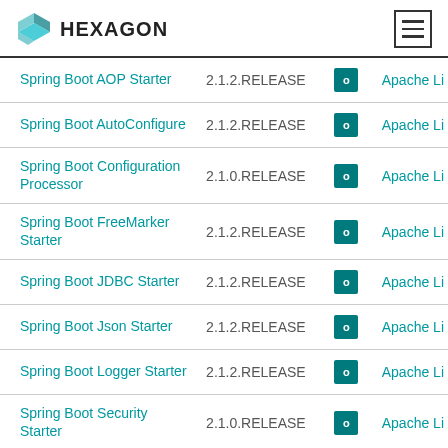HEXAGON
| Name | Version | Badge | License |
| --- | --- | --- | --- |
| Spring Boot AOP Starter | 2.1.2.RELEASE | 0 | Apache Li... |
| Spring Boot AutoConfigure | 2.1.2.RELEASE | 0 | Apache Li... |
| Spring Boot Configuration Processor | 2.1.0.RELEASE | 0 | Apache Li... |
| Spring Boot FreeMarker Starter | 2.1.2.RELEASE | 0 | Apache Li... |
| Spring Boot JDBC Starter | 2.1.2.RELEASE | 0 | Apache Li... |
| Spring Boot Json Starter | 2.1.2.RELEASE | 0 | Apache Li... |
| Spring Boot Logger Starter | 2.1.2.RELEASE | 0 | Apache Li... |
| Spring Boot Security Starter | 2.1.0.RELEASE | 0 | Apache Li... |
| Spring Boot Starter | 2.1.2.RELEASE | 0 | Apache Li... |
| Spring Boot Web Starter | 2.1.2.RELEASE | 0 | Apache Li... |